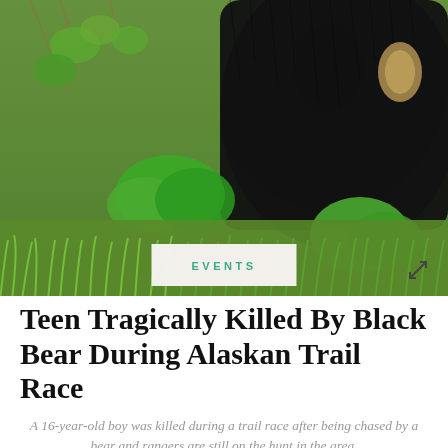[Figure (photo): A black bear photographed from close range in a natural outdoor setting with green grass, shrubs, and vegetation. Only the body/torso of the bear is visible, with a tan patch on its chest. The background shows green foliage and grass in the foreground.]
EVENTS
Teen Tragically Killed By Black Bear During Alaskan Trail Race
A 16-year-old boy was killed during a trail race after being chased by a bear and rangers are still on the hunt in the area.